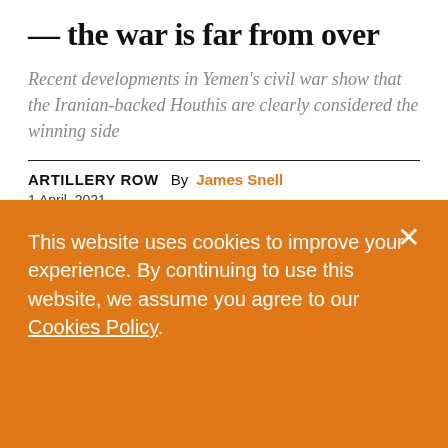— the war is far from over
Recent developments in Yemen's civil war show that the Iranian-backed Houthis are clearly considered the winning side
ARTILLERY ROW  By James Snell
1 April, 2021
This website uses cookies to improve your experience. By continuing to use this website, we assume you agree to our Cookies Policy.